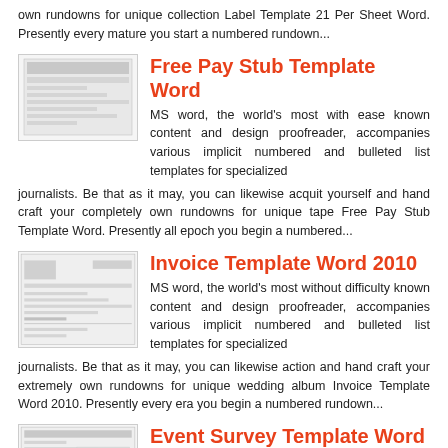own rundowns for unique collection Label Template 21 Per Sheet Word. Presently every mature you start a numbered rundown...
Free Pay Stub Template Word
[Figure (screenshot): Thumbnail image of a pay stub template document]
MS word, the world's most with ease known content and design proofreader, accompanies various implicit numbered and bulleted list templates for specialized journalists. Be that as it may, you can likewise acquit yourself and hand craft your completely own rundowns for unique tape Free Pay Stub Template Word. Presently all epoch you begin a numbered...
Invoice Template Word 2010
[Figure (screenshot): Thumbnail image of an invoice template document]
MS word, the world's most without difficulty known content and design proofreader, accompanies various implicit numbered and bulleted list templates for specialized journalists. Be that as it may, you can likewise action and hand craft your extremely own rundowns for unique wedding album Invoice Template Word 2010. Presently every era you begin a numbered rundown...
Event Survey Template Word
[Figure (screenshot): Thumbnail image of an event survey template document]
MS word, the world's most competently known content and design proofreader, accompanies various implicit